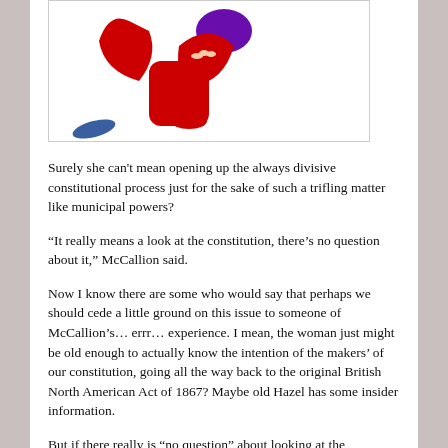[Figure (illustration): A cartoon/comic illustration of a character in red costume with a purple element, appearing to be running or gesturing, shown from roughly waist up with a small blue shape at the bottom left]
Surely she can't mean opening up the always divisive constitutional process just for the sake of such a trifling matter like municipal powers?
“It really means a look at the constitution, there’s no question about it,” McCallion said.
Now I know there are some who would say that perhaps we should cede a little ground on this issue to someone of McCallion’s… errr… experience. I mean, the woman just might be old enough to actually know the intention of the makers’ of our constitution, going all the way back to the original British North American Act of 1867? Maybe old Hazel has some insider information.
But if there really is “no question” about looking at the constitution why hasn’t anyone else suggested it?